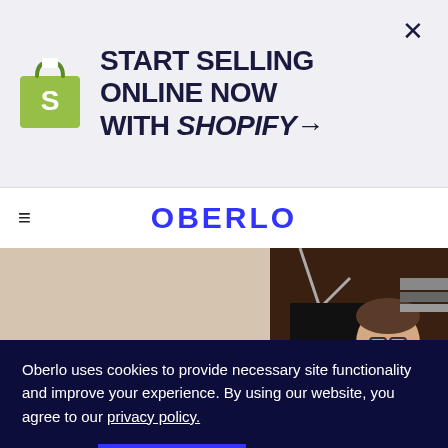[Figure (infographic): Shopify advertisement banner with Shopify bag logo on left and text 'START SELLING ONLINE NOW WITH SHOPIFY →' with a close X button]
OBERLO
[Figure (photo): Hero photo of a person wearing glasses and black shirt sitting at a desk with lamps in background]
Oberlo uses cookies to provide necessary site functionality and improve your experience. By using our website, you agree to our privacy policy.
Reject  ACCEPT